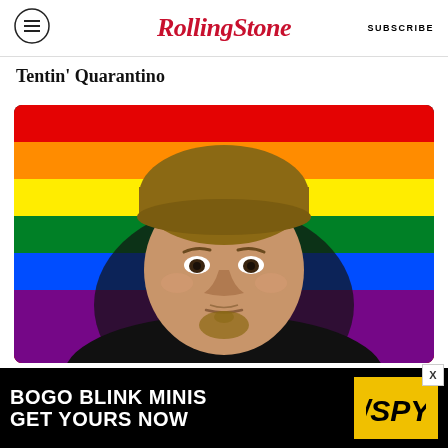Rolling Stone | SUBSCRIBE
Tentin' Quarantino
[Figure (photo): A man wearing a brown beanie hat and black shirt, photographed in selfie style against a rainbow pride flag background. He has a goatee and appears to be looking directly at the camera with a neutral expression.]
[Figure (other): Advertisement banner: BOGO BLINK MINIS GET YOURS NOW with SPY logo on yellow background]